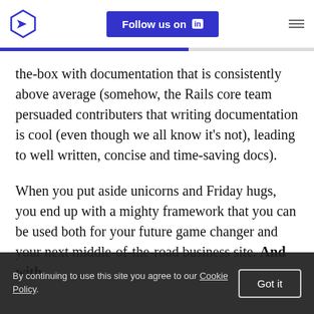Toptal logo | Follow us on LinkedIn | Menu
the-box with documentation that is consistently above average (somehow, the Rails core team persuaded contributers that writing documentation is cool (even though we all know it's not), leading to well written, concise and time-saving docs).
When you put aside unicorns and Friday hugs, you end up with a mighty framework that you can be used both for your future game changer and your next middle-of-the-road business site. And with
By continuing to use this site you agree to our Cookie Policy. Got it